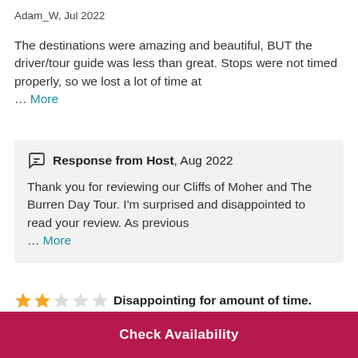Adam_W, Jul 2022
The destinations were amazing and beautiful, BUT the driver/tour guide was less than great. Stops were not timed properly, so we lost a lot of time at … More
Response from Host, Aug 2022
Thank you for reviewing our Cliffs of Moher and The Burren Day Tour. I'm surprised and disappointed to read your review. As previous … More
Disappointing for amount of time.
Check Availability